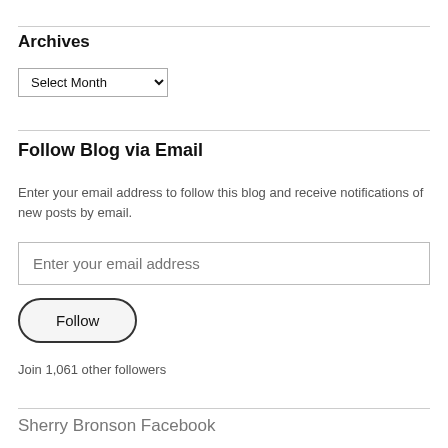Archives
Select Month
Follow Blog via Email
Enter your email address to follow this blog and receive notifications of new posts by email.
Enter your email address
Follow
Join 1,061 other followers
Sherry Bronson Facebook